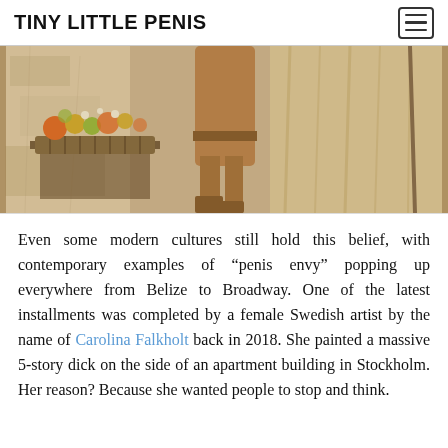TINY LITTLE PENIS
[Figure (photo): Ancient Roman fresco fragment showing a figure (partially visible from torso down) standing near a table with a fruit basket/offering, with draped fabric in the background. Earthy tones of ochre, brown, and muted green.]
Even some modern cultures still hold this belief, with contemporary examples of “penis envy” popping up everywhere from Belize to Broadway. One of the latest installments was completed by a female Swedish artist by the name of Carolina Falkholt back in 2018. She painted a massive 5-story dick on the side of an apartment building in Stockholm. Her reason? Because she wanted people to stop and think.